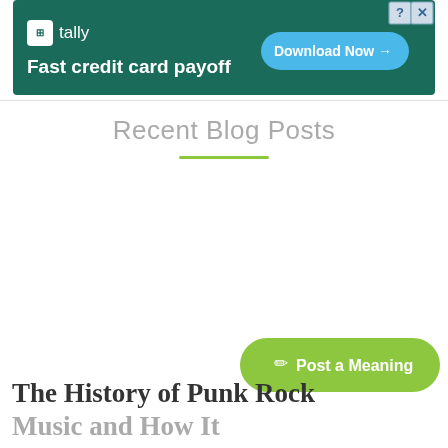[Figure (other): Advertisement banner for Tally app: dark green background, Tally logo, text 'Fast credit card payoff', blue 'Download Now →' button, with close and help controls in top right corner.]
Recent Blog Posts
[Figure (other): Green 'Post a Meaning' button with pencil icon in bottom right area.]
The History of Punk Rock Music and How It